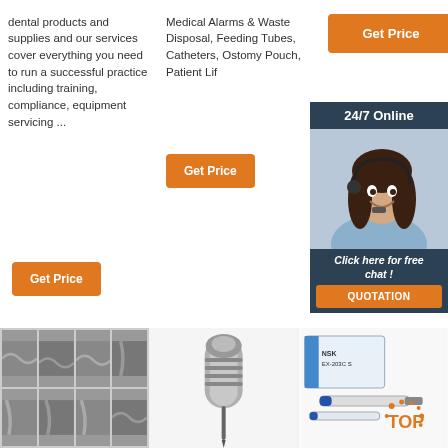dental products and supplies and our services cover everything you need to run a successful practice including training, compliance, equipment servicing ...
Medical Alarms & Waste Disposal, Feeding Tubes, Catheters, Ostomy Pouch, Patient Lif
[Figure (other): 24/7 Online chat box with customer service representative and QUOTATION button]
Get Price
Get Price
Get Price
[Figure (photo): Grid of 8 grayscale thumbnail images showing close-up dental/finger textures]
[Figure (photo): Dental handpiece/drill tool on white background]
[Figure (photo): NSK EX-203C dental product box and tools with TOP logo]